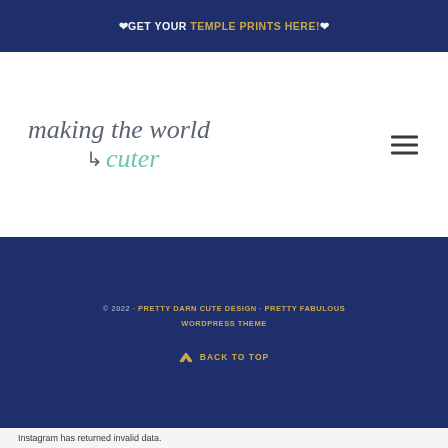❤GET YOUR TEMPLE PRINTS HERE!❤
making the world cuter
© 2022 · PRETTY DARN CUTE DESIGN · PRETTY FABULOUS WORDPRESS THEME
⌃ BACK TO TOP
Instagram has returned invalid data.